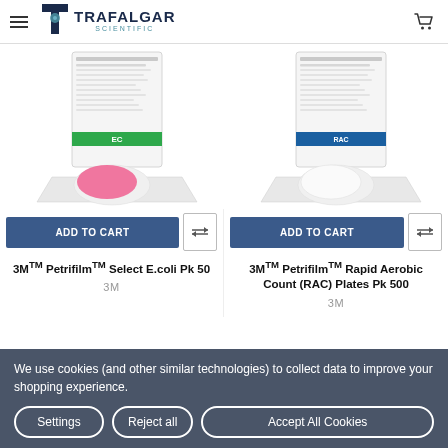Trafalgar Scientific
[Figure (photo): 3M Petrifilm Select E.coli product with green-labeled packet and pink circular film on a stand]
[Figure (photo): 3M Petrifilm Rapid Aerobic Count (RAC) Plates product with blue-labeled packet and white film on a stand]
ADD TO CART
ADD TO CART
3M™ Petrifilm™ Select E.coli Pk 50
3M
3M™ Petrifilm™ Rapid Aerobic Count (RAC) Plates Pk 500
3M
We use cookies (and other similar technologies) to collect data to improve your shopping experience.